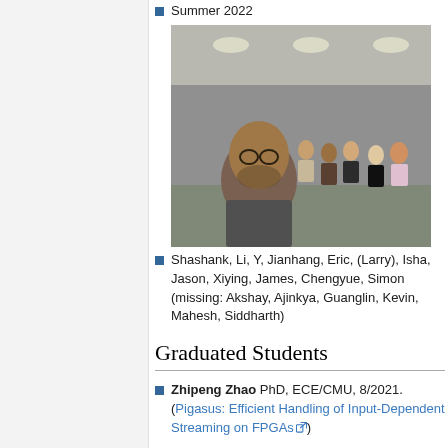Summer 2022
[Figure (photo): Group photo of students and researchers in an indoor facility (likely a lab or warehouse). One person takes a selfie in the foreground; approximately 14 people stand behind him.]
Shashank, Li, Y, Jianhang, Eric, (Larry), Isha, Jason, Xiying, James, Chengyue, Simon (missing: Akshay, Ajinkya, Guanglin, Kevin, Mahesh, Siddharth)
Graduated Students
Zhipeng Zhao PhD, ECE/CMU, 8/2021. (Pigasus: Efficient Handling of Input-Dependent Streaming on FPGAs)
Joseph Melber PhD, ECE/CMU, 8/2021. (Fluid: Raising the Level of Abstraction for FPGA Accelerator Development Without